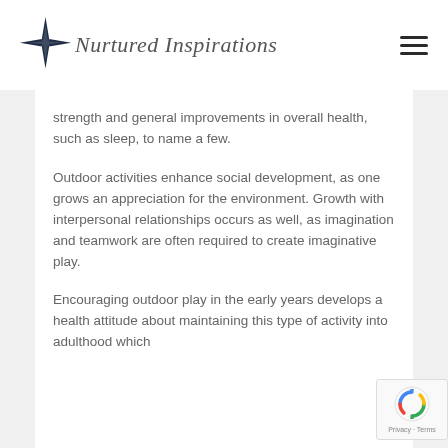Nurtured Inspirations
strength and general improvements in overall health, such as sleep, to name a few.
Outdoor activities enhance social development, as one grows an appreciation for the environment. Growth with interpersonal relationships occurs as well, as imagination and teamwork are often required to create imaginative play.
Encouraging outdoor play in the early years develops a health attitude about maintaining this type of activity into adulthood which